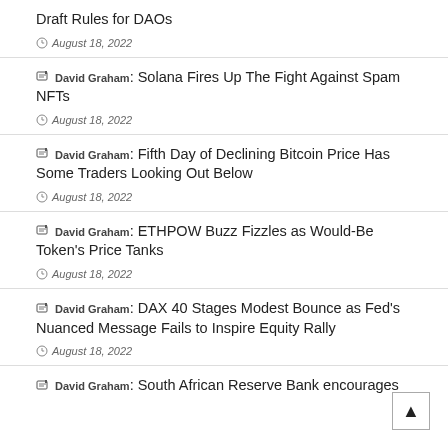Draft Rules for DAOs
August 18, 2022
David Graham: Solana Fires Up The Fight Against Spam NFTs
August 18, 2022
David Graham: Fifth Day of Declining Bitcoin Price Has Some Traders Looking Out Below
August 18, 2022
David Graham: ETHPOW Buzz Fizzles as Would-Be Token's Price Tanks
August 18, 2022
David Graham: DAX 40 Stages Modest Bounce as Fed's Nuanced Message Fails to Inspire Equity Rally
August 18, 2022
David Graham: South African Reserve Bank encourages